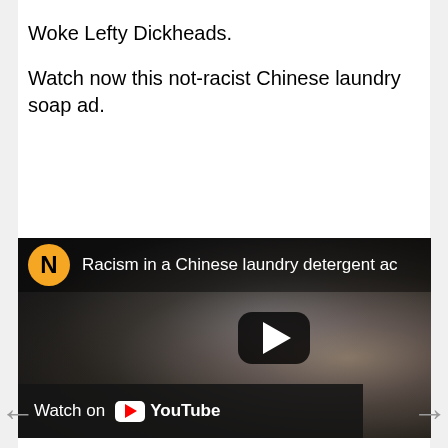Woke Lefty Dickheads.
Watch now this not-racist Chinese laundry soap ad.
[Figure (screenshot): Embedded YouTube video thumbnail showing a blurry close-up of a person's face/neck. The video top bar shows a yellow circular 'N' logo and the title 'Racism in a Chinese laundry detergent ad' (truncated). A play button is visible in the center-right. A 'Watch on YouTube' bar appears at the bottom left.]